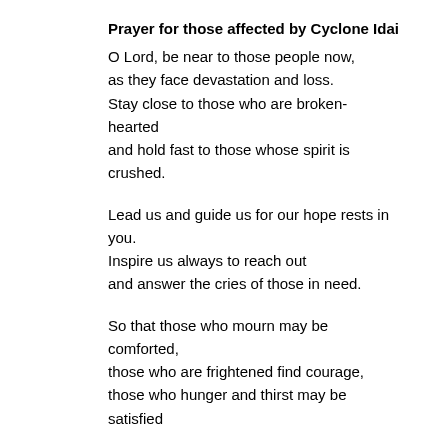Prayer for those affected by Cyclone Idai
O Lord, be near to those people now,
as they face devastation and loss.
Stay close to those who are broken-
hearted
and hold fast to those whose spirit is
crushed.
Lead us and guide us for our hope rests in
you.
Inspire us always to reach out
and answer the cries of those in need.
So that those who mourn may be
comforted,
those who are frightened find courage,
those who hunger and thirst may be
satisfied